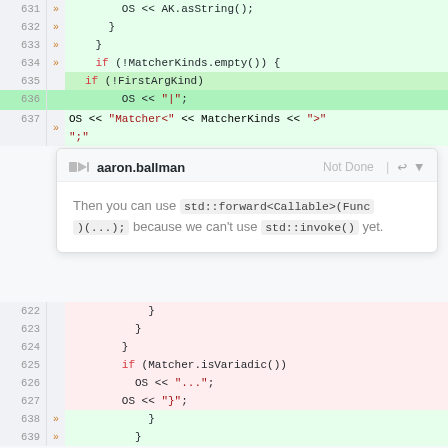[Figure (screenshot): Code diff view showing lines 631-641 with green (added) and red (removed) highlights, and an inline code review comment by aaron.ballman marked 'Not Done'. The comment reads: 'Then you can use std::forward<Callable>(Func)(...); because we can’t use std::invoke() yet.']